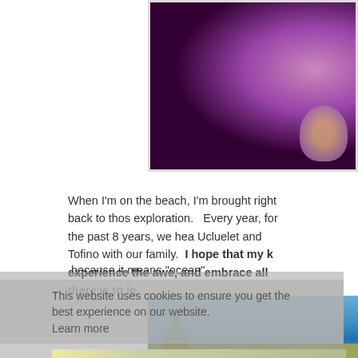[Figure (photo): Partial photo at top showing a purple object and person, cropped view with dark and purple tones]
When I'm on the beach, I'm brought right back to those exploration.   Every year, for the past 8 years, we hea Ucluelet and Tofino with our family.  I hope that my k experience the awe, and embrace all there is to le
because it means "ocean".
This website uses cookies to ensure you get the best experience on our website.
Learn more
[Figure (photo): Partial photo at bottom showing a beach scene with blue sky, trees, and sandy shore]
Got it!